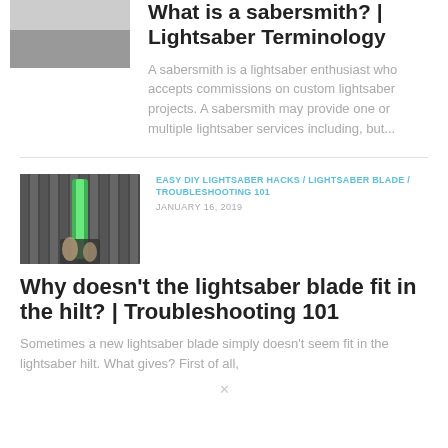[Figure (photo): Partial thumbnail photo at top left, cropped showing bottom portion only]
What is a sabersmith? | Lightsaber Terminology
A sabersmith is a lightsaber enthusiast who accepts commissions on custom lightsaber projects. A sabersmith may provide one or multiple lightsaber services including, but...
[Figure (photo): Thumbnail photo of a hand holding a green lightsaber against striped background]
EASY DIY LIGHTSABER HACKS / LIGHTSABER BLADE / TROUBLESHOOTING 101
JANUARY 16, 2019
Why doesn't the lightsaber blade fit in the hilt? | Troubleshooting 101
Sometimes a new lightsaber blade simply doesn't seem fit in the lightsaber hilt. What gives? First of all,